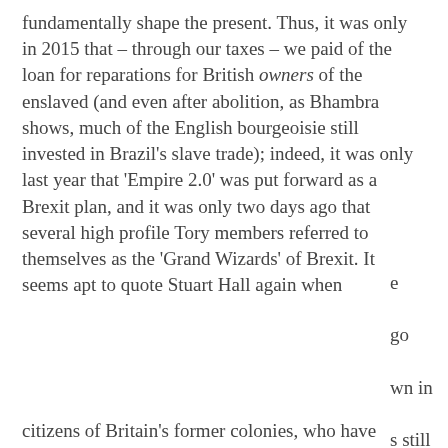fundamentally shape the present. Thus, it was only in 2015 that – through our taxes – we paid of the loan for reparations for British owners of the enslaved (and even after abolition, as Bhambra shows, much of the English bourgeoisie still invested in Brazil's slave trade); indeed, it was only last year that 'Empire 2.0' was put forward as a Brexit plan, and it was only two days ago that several high profile Tory members referred to themselves as the 'Grand Wizards' of Brexit. It seems apt to quote Stuart Hall again when
[Figure (screenshot): Cookie consent overlay banner with dark purple background. Text reads: 'This website uses cookies to ensure you get the best experience on our website.' followed by a 'Learn more' link and a 'Got it!' button bar in lighter purple.]
citizens of Britain's former colonies, who have